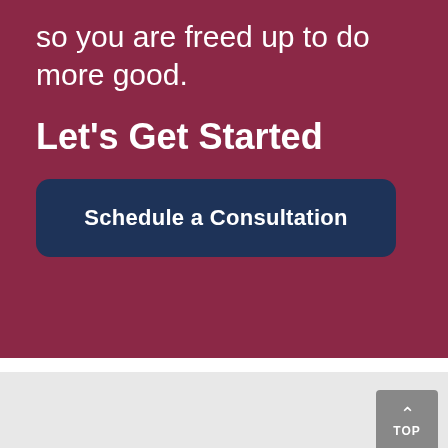so you are freed up to do more good.
Let's Get Started
[Figure (other): Dark navy blue rounded rectangle button labeled 'Schedule a Consultation']
[Figure (other): Gray square 'TOP' back-to-top button with upward chevron arrow]